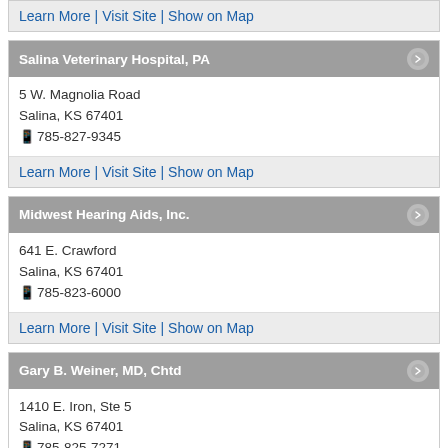Learn More | Visit Site | Show on Map
Salina Veterinary Hospital, PA
5 W. Magnolia Road
Salina, KS 67401
📱 785-827-9345
Learn More | Visit Site | Show on Map
Midwest Hearing Aids, Inc.
641 E. Crawford
Salina, KS 67401
📱 785-823-6000
Learn More | Visit Site | Show on Map
Gary B. Weiner, MD, Chtd
1410 E. Iron, Ste 5
Salina, KS 67401
📱 785-825-7271
Learn More | Show on Map
ENHANCED BY Google
us today to
get listed!